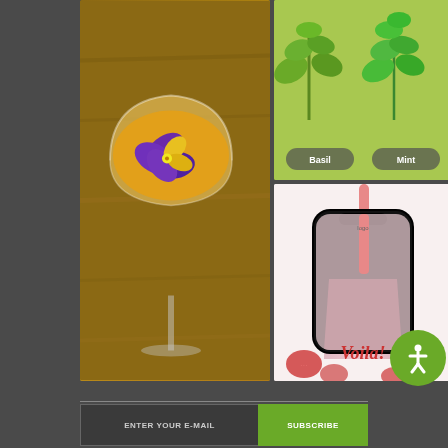[Figure (photo): Cocktail in a coupe glass with purple and yellow pansy flower, amber/orange drink, wooden table background]
[Figure (photo): Two herb sprigs on light green background with labels - basil and mint]
[Figure (photo): Smartphone frame overlaid on strawberry smoothie in glass with Voila! text, strawberries around it]
ENTER YOUR E-MAIL
SUBSCRIBE